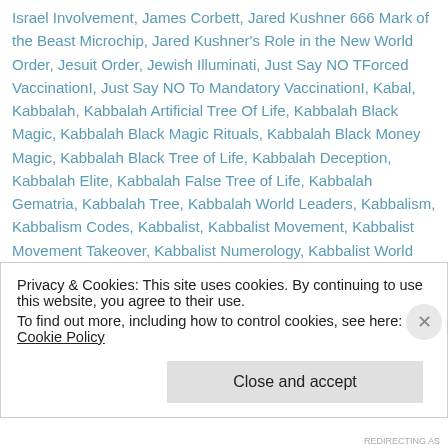Israel Involvement, James Corbett, Jared Kushner 666 Mark of the Beast Microchip, Jared Kushner's Role in the New World Order, Jesuit Order, Jewish Illuminati, Just Say NO TForced VaccinationI, Just Say NO To Mandatory VaccinationI, Kabal, Kabbalah, Kabbalah Artificial Tree Of Life, Kabbalah Black Magic, Kabbalah Black Magic Rituals, Kabbalah Black Money Magic, Kabbalah Black Tree of Life, Kabbalah Deception, Kabbalah Elite, Kabbalah False Tree of Life, Kabbalah Gematria, Kabbalah Tree, Kabbalah World Leaders, Kabbalism, Kabbalism Codes, Kabbalist, Kabbalist Movement, Kabbalist Movement Takeover, Kabbalist Numerology, Kabbalist World Leaders, Kabbalistic Numerology, Klaus
Privacy & Cookies: This site uses cookies. By continuing to use this website, you agree to their use.
To find out more, including how to control cookies, see here: Cookie Policy
Close and accept
REDIRECTING AS